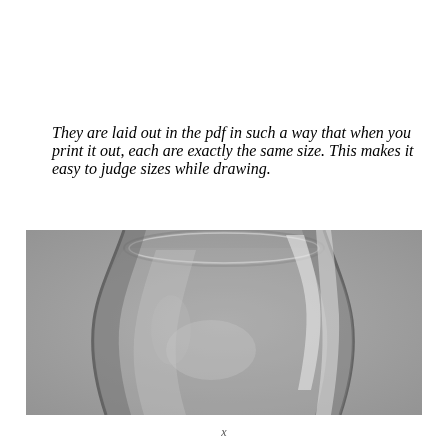They are laid out in the pdf in such a way that when you print it out, each are exactly the same size. This makes it easy to judge sizes while drawing.
[Figure (photo): Black and white photograph showing the upper portion of a clear wine glass against a grey background. The glass bowl is visible with light reflections and highlights showing the glass transparency.]
x